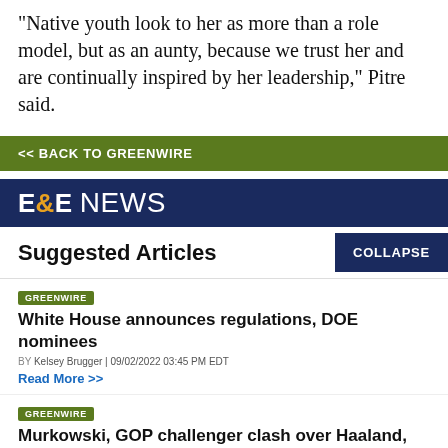"Native youth look to her as more than a role model, but as an aunty, because we trust her and are continually inspired by her leadership," Pitre said.
<< BACK TO GREENWIRE
[Figure (logo): E&E NEWS logo in white on navy background]
Suggested Articles
GREENWIRE
White House announces regulations, DOE nominees
BY Kelsey Brugger | 09/02/2022 03:45 PM EDT
Read More >>
GREENWIRE
Murkowski, GOP challenger clash over Haaland, drilling,